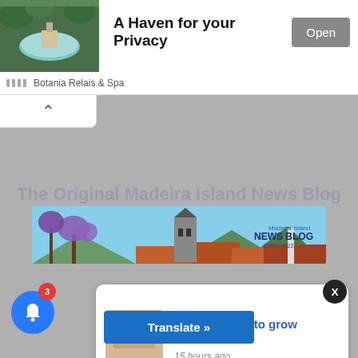[Figure (screenshot): Ad banner for Botania Relais & Spa showing a spa pool image with title 'A Haven for your Privacy' and an Open button]
Botania Relais & Spa
The Original Madeira Island News Blog
[Figure (photo): Madeira Island News Blog banner photo showing a church tower with jacaranda trees and red rooftops. Text overlay: Madeira Island NEWS BLOG 2007 - 2022]
AL in Calheta to grow further
15 hours ago
Translate »
AL in Calheta to grow further (partial bottom text)